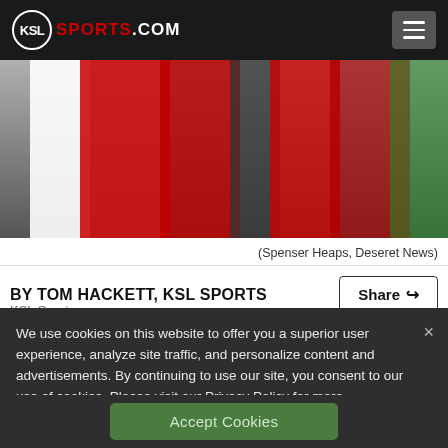KSL SPORTS.COM
[Figure (photo): Football players in red jerseys on a field, photo credit to Spenser Heaps, Deseret News]
(Spenser Heaps, Deseret News)
BY TOM HACKETT, KSL SPORTS
We use cookies on this website to offer you a superior user experience, analyze site traffic, and personalize content and advertisements. By continuing to use our site, you consent to our use of cookies. Please visit our Privacy Policy for more information.
Accept Cookies